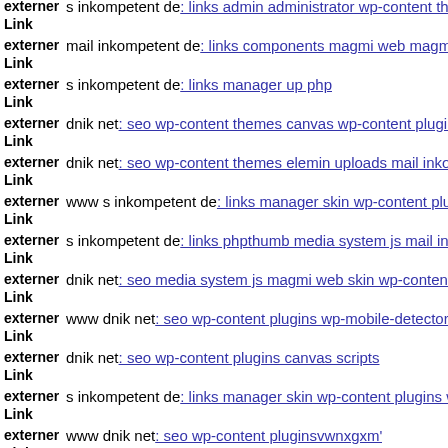externer Link  s inkompetent de: links admin administrator wp-content the
externer Link  mail inkompetent de: links components magmi web magmi
externer Link  s inkompetent de: links manager up php
externer Link  dnik net: seo wp-content themes canvas wp-content plugins
externer Link  dnik net: seo wp-content themes elemin uploads mail inkon
externer Link  www s inkompetent de: links manager skin wp-content plug
externer Link  s inkompetent de: links phpthumb media system js mail ink
externer Link  dnik net: seo media system js magmi web skin wp-content t
externer Link  www dnik net: seo wp-content plugins wp-mobile-detector
externer Link  dnik net: seo wp-content plugins canvas scripts
externer Link  s inkompetent de: links manager skin wp-content plugins w
externer Link  www dnik net: seo wp-content pluginsvwnxgxm'